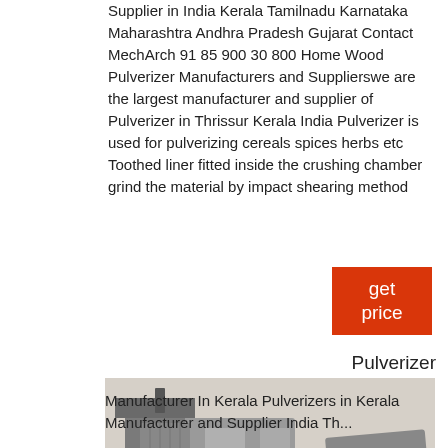Supplier in India Kerala Tamilnadu Karnataka Maharashtra Andhra Pradesh Gujarat Contact MechArch 91 85 900 30 800 Home Wood Pulverizer Manufacturers and Supplierswe are the largest manufacturer and supplier of Pulverizer in Thrissur Kerala India Pulverizer is used for pulverizing cereals spices herbs etc Toothed liner fitted inside the crushing chamber grind the material by impact shearing method
[Figure (other): Orange/red button with text 'get price']
Pulverizer
[Figure (photo): Photo of a large industrial mobile pulverizer/crusher machine on wheels]
Manufacturer In Kerala Pulverizers in Kerala Manufacturer and Supplier India Th...